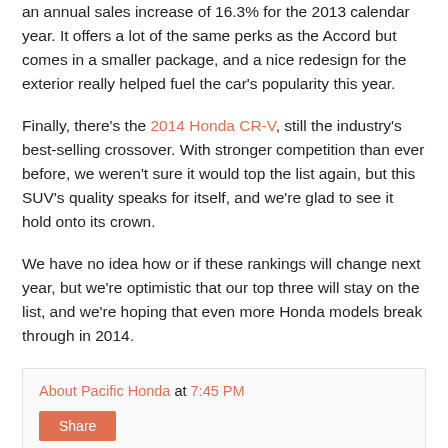an annual sales increase of 16.3% for the 2013 calendar year. It offers a lot of the same perks as the Accord but comes in a smaller package, and a nice redesign for the exterior really helped fuel the car's popularity this year.
Finally, there's the 2014 Honda CR-V, still the industry's best-selling crossover. With stronger competition than ever before, we weren't sure it would top the list again, but this SUV's quality speaks for itself, and we're glad to see it hold onto its crown.
We have no idea how or if these rankings will change next year, but we're optimistic that our top three will stay on the list, and we're hoping that even more Honda models break through in 2014.
About Pacific Honda at 7:45 PM
Share
No comments: